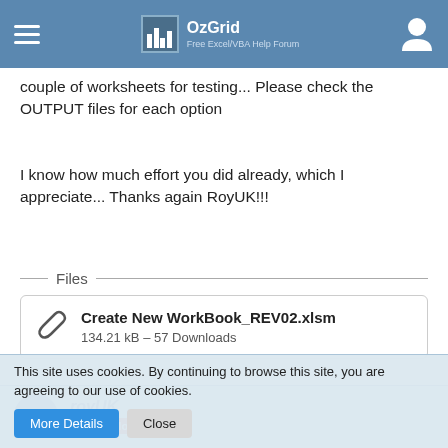OzGrid — Free Excel/VBA Help Forum
couple of worksheets for testing... Please check the OUTPUT files for each option
I know how much effort you did already, which I appreciate... Thanks again RoyUK!!!
Files
Create New WorkBook_REV02.xlsm
134.21 kB – 57 Downloads
royUK
Super Moderator
This site uses cookies. By continuing to browse this site, you are agreeing to our use of cookies.